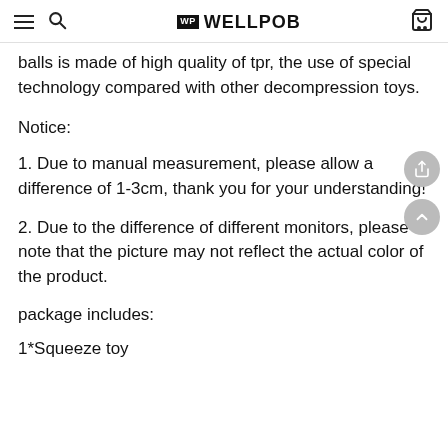WP WELLPOB
balls is made of high quality of tpr, the use of special technology compared with other decompression toys.
Notice:
1. Due to manual measurement, please allow a difference of 1-3cm, thank you for your understanding!
2. Due to the difference of different monitors, please note that the picture may not reflect the actual color of the product.
package includes:
1*Squeeze toy